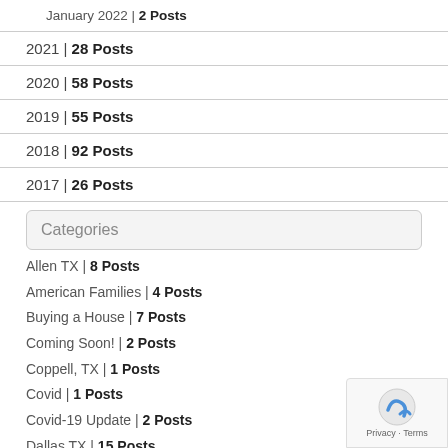January 2022 | 2 Posts
2021 | 28 Posts
2020 | 58 Posts
2019 | 55 Posts
2018 | 92 Posts
2017 | 26 Posts
Categories
Allen TX | 8 Posts
American Families | 4 Posts
Buying a House | 7 Posts
Coming Soon! | 2 Posts
Coppell, TX | 1 Posts
Covid | 1 Posts
Covid-19 Update | 2 Posts
Dallas TX | 15 Posts
DFW | 5 Posts
DFW Real Estate | 30 Posts
Economy | 42 Posts
Exurb Counties | 2 Posts
Financial News | 1 Posts